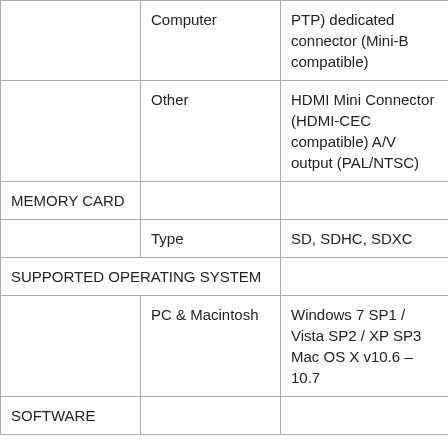|  | Computer | PTP) dedicated connector (Mini-B compatible) |
|  | Other | HDMI Mini Connector (HDMI-CEC compatible) A/V output (PAL/NTSC) |
| MEMORY CARD |  |  |
|  | Type | SD, SDHC, SDXC |
| SUPPORTED OPERATING SYSTEM |  |  |
|  | PC & Macintosh | Windows 7 SP1 / Vista SP2 / XP SP3
Mac OS X v10.6 – 10.7 |
| SOFTWARE |  |  |